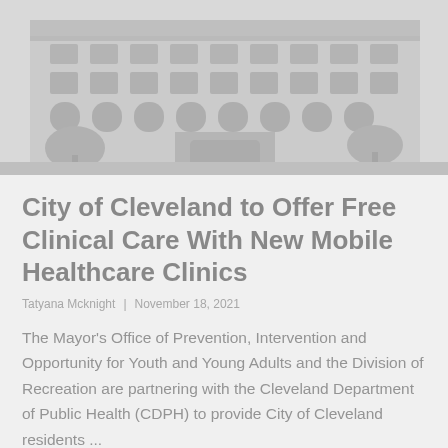[Figure (photo): Exterior photograph of a large neoclassical government/civic building with stone facade, arched windows, and trees in front. The image is in muted gray tones.]
City of Cleveland to Offer Free Clinical Care With New Mobile Healthcare Clinics
Tatyana Mcknight  |  November 18, 2021
The Mayor's Office of Prevention, Intervention and Opportunity for Youth and Young Adults and the Division of Recreation are partnering with the Cleveland Department of Public Health (CDPH) to provide City of Cleveland residents ...